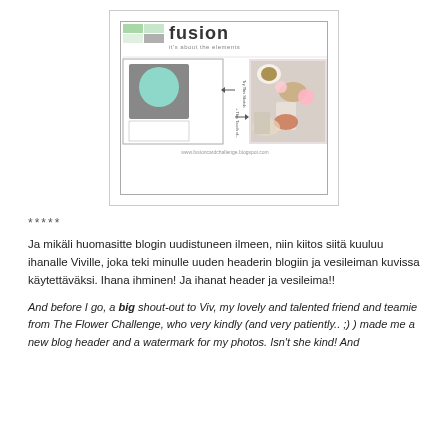[Figure (illustration): Fusion card challenge blog badge showing the logo with colored squares, a card layout sketch with a mint circle element, arrows, and a photo of tea/food items. URL: www.fusioncardchallenge.blogspot.com]
*****
Ja mikäli huomasitte blogin uudistuneen ilmeen, niin kiitos siitä kuuluu ihanalle Viville, joka teki minulle uuden headerin blogiin ja vesileiman kuvissa käytettäväksi. Ihana ihminen! Ja ihanat header ja vesileima!!
And before I go, a big shout-out to Viv, my lovely and talented friend and teamie from The Flower Challenge, who very kindly (and very patiently.. ;) ) made me a new blog header and a watermark for my photos. Isn't she kind! And and the sister reward here and find the sh...